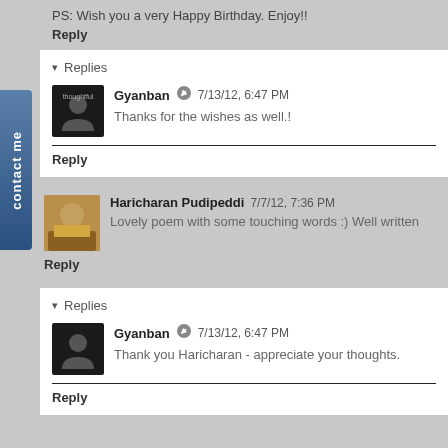PS: Wish you a very Happy Birthday. Enjoy!!
Reply
Replies
Gyanban 7/13/12, 6:47 PM
Thanks for the wishes as well.!
Reply
Haricharan Pudipeddi 7/7/12, 7:36 PM
Lovely poem with some touching words :) Well written
Reply
Replies
Gyanban 7/13/12, 6:47 PM
Thank you Haricharan - appreciate your thoughts.
Reply